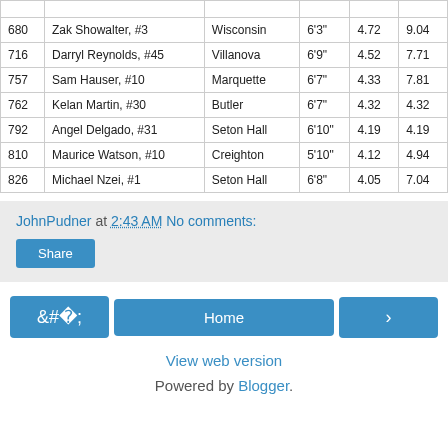|  | Name | School | Height | Col5 | Col6 |
| --- | --- | --- | --- | --- | --- |
|  |  |  |  |  |  |
| 680 | Zak Showalter, #3 | Wisconsin | 6'3" | 4.72 | 9.04 |
| 716 | Darryl Reynolds, #45 | Villanova | 6'9" | 4.52 | 7.71 |
| 757 | Sam Hauser, #10 | Marquette | 6'7" | 4.33 | 7.81 |
| 762 | Kelan Martin, #30 | Butler | 6'7" | 4.32 | 4.32 |
| 792 | Angel Delgado, #31 | Seton Hall | 6'10" | 4.19 | 4.19 |
| 810 | Maurice Watson, #10 | Creighton | 5'10" | 4.12 | 4.94 |
| 826 | Michael Nzei, #1 | Seton Hall | 6'8" | 4.05 | 7.04 |
JohnPudner at 2:43 AM   No comments:
Share
‹   Home   ›
View web version
Powered by Blogger.